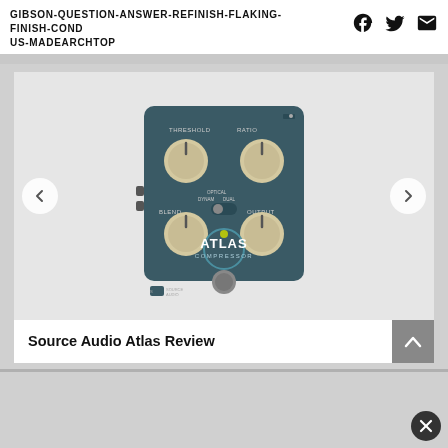GIBSON-QUESTION-ANSWER-REFINISH-FLAKING-FINISH-COND US-MADEARCHTOP
[Figure (photo): Source Audio Atlas Compressor guitar pedal, dark teal/green enclosure with four cream knobs labeled THRESHOLD, RATIO, BLEND, and OUTPUT, a footswitch, LED indicator, and optical/dual mode switch. Source Audio brand logo at bottom.]
Source Audio Atlas Review
[Figure (other): Scroll-to-top button (dark arrow icon on grey background) and close button (X on dark circle)]